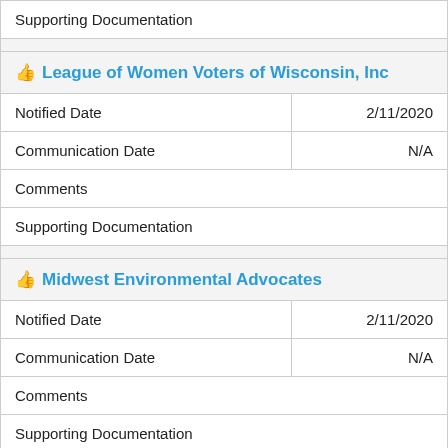Supporting Documentation
👍 League of Women Voters of Wisconsin, Inc
| Notified Date | 2/11/2020 |
| Communication Date | N/A |
| Comments |  |
| Supporting Documentation |  |
👍 Midwest Environmental Advocates
| Notified Date | 2/11/2020 |
| Communication Date | N/A |
| Comments |  |
| Supporting Documentation |  |